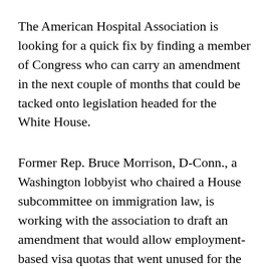The American Hospital Association is looking for a quick fix by finding a member of Congress who can carry an amendment in the next couple of months that could be tacked onto legislation headed for the White House.
Former Rep. Bruce Morrison, D-Conn., a Washington lobbyist who chaired a House subcommittee on immigration law, is working with the association to draft an amendment that would allow employment-based visa quotas that went unused for the past few years